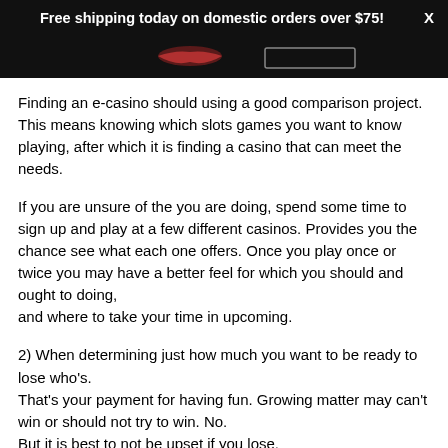Free shipping today on domestic orders over $75!
[Figure (other): Dark banner with partial face/lips image and a search or input box element]
Finding an e-casino should using a good comparison project. This means knowing which slots games you want to know playing, after which it is finding a casino that can meet the needs.
If you are unsure of the you are doing, spend some time to sign up and play at a few different casinos. Provides you the chance see what each one offers. Once you play once or twice you may have a better feel for which you should and ought to doing, and where to take your time in upcoming.
2) When determining just how much you want to be ready to lose who's.
That's your payment for having fun. Growing matter may can't win or should not try to win. No.
But it is best to not be upset if you lose.
So if you won't cry for losing1 dollar – let or